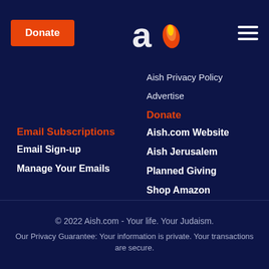Donate | Aish.com Logo | Hamburger menu
Aish Privacy Policy
Advertise
Email Subscriptions
Email Sign-up
Manage Your Emails
Donate
Aish.com Website
Aish Jerusalem
Planned Giving
Shop Amazon
Languages
Spanish
Hebrew
French
© 2022 Aish.com - Your life. Your Judaism.
Our Privacy Guarantee: Your information is private. Your transactions are secure.